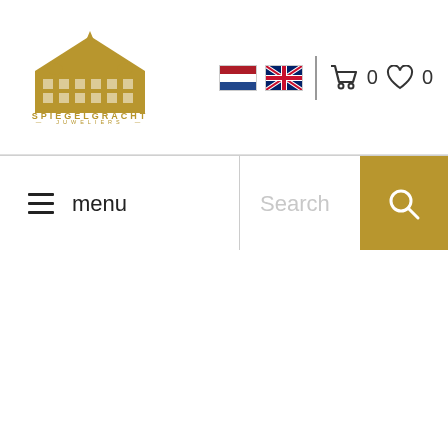[Figure (logo): Spiegelgracht Juweliers logo — gold building illustration above the text SPIEGELGRACHT JUWELIERS with gold horizontal rules]
[Figure (illustration): Dutch flag (red, white, blue horizontal stripes) and UK flag (Union Jack) language selectors, followed by a vertical divider bar, a shopping cart icon with count 0, and a heart/wishlist icon with count 0]
[Figure (infographic): Navigation bar with hamburger menu icon and 'menu' label on the left, a Search placeholder text field in the middle, and a gold search button with magnifying glass icon on the right]